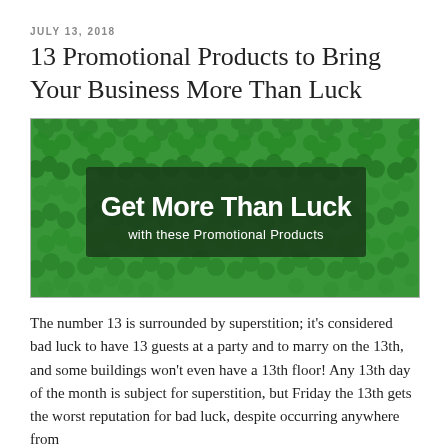JULY 13, 2018
13 Promotional Products to Bring Your Business More Than Luck
[Figure (photo): Banner image with green shamrock/clover background and dark green semi-transparent rectangle overlay containing white text: 'Get More Than Luck' (large bold) and 'with these Promotional Products' (smaller)]
The number 13 is surrounded by superstition; it's considered bad luck to have 13 guests at a party and to marry on the 13th, and some buildings won't even have a 13th floor! Any 13th day of the month is subject for superstition, but Friday the 13th gets the worst reputation for bad luck, despite occurring anywhere from